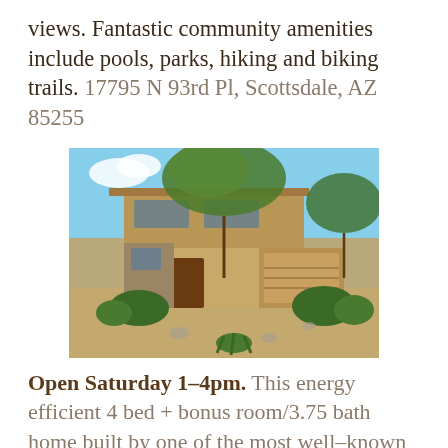views. Fantastic community amenities include pools, parks, hiking and biking trails. 17795 N 93rd Pl, Scottsdale, AZ 85255
[Figure (photo): Exterior photo of a two-story desert Southwest style home with tan stucco walls, stone accents, green desert trees, manicured shrubs, and gravel landscaping.]
Open Saturday 1-4pm. This energy efficient 4 bed + bonus room/3.75 bath home built by one of the most well-known valley builders is all on a North/South exposed cul-de...